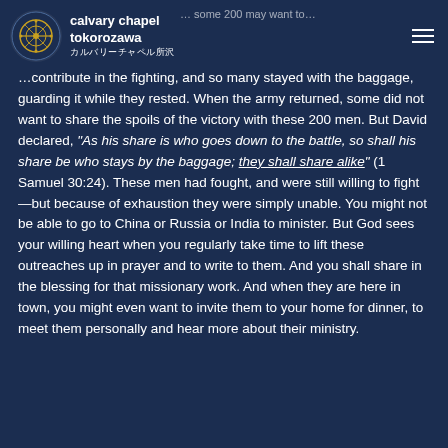Calvary Chapel Tokorozawa
... some 200 may have little to contribute in the fighting, and so many stayed with the baggage, guarding it while they rested. When the army returned, some did not want to share the spoils of the victory with these 200 men. But David declared, "As his share is who goes down to the battle, so shall his share be who stays by the baggage; they shall share alike" (1 Samuel 30:24). These men had fought, and were still willing to fight—but because of exhaustion they were simply unable. You might not be able to go to China or Russia or India to minister. But God sees your willing heart when you regularly take time to lift these outreaches up in prayer and to write to them. And you shall share in the blessing for that missionary work. And when they are here in town, you might even want to invite them to your home for dinner, to meet them personally and hear more about their ministry.